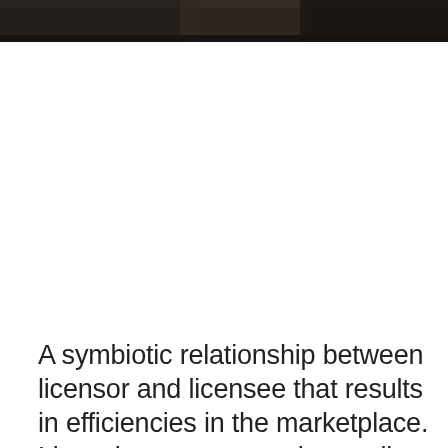[Figure (photo): Dark photographic strip at top of page, showing a cropped dark toned image, likely people or a scene, very dark/shadowed.]
A symbiotic relationship between licensor and licensee that results in efficiencies in the marketplace. Licensing represents the retail